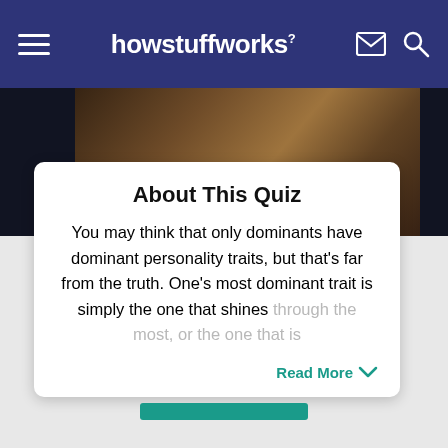howstuffworks
[Figure (photo): Background hero image of a person outdoors with foliage, darkened/blurred. Credit: elebravk/Moment/Getty Images]
Image: elebravk/Moment/Getty Images
About This Quiz
You may think that only dominants have dominant personality traits, but that's far from the truth. One's most dominant trait is simply the one that shines through the most, or the one that is
Read More